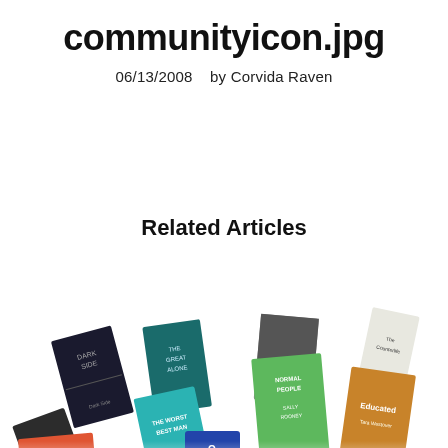communityicon.jpg
06/13/2008    by Corvida Raven
Related Articles
[Figure (photo): Collage of book covers arranged diagonally, including titles such as Dark Side, Normal People by Sally Rooney, Educated, The Worst Best Man, and others, displayed at various angles.]